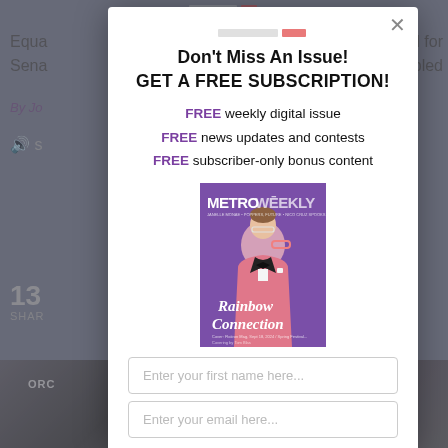[Figure (screenshot): Blurred background of a news website page showing partial article headline and photo]
Don't Miss An Issue!
GET A FREE SUBSCRIPTION!
FREE weekly digital issue
FREE news updates and contests
FREE subscriber-only bonus content
[Figure (photo): Metro Weekly magazine cover featuring a man in a pink tuxedo jacket and bow tie holding pink glasses, with text 'Rainbow Connection']
Enter your first name here...
Enter your email here...